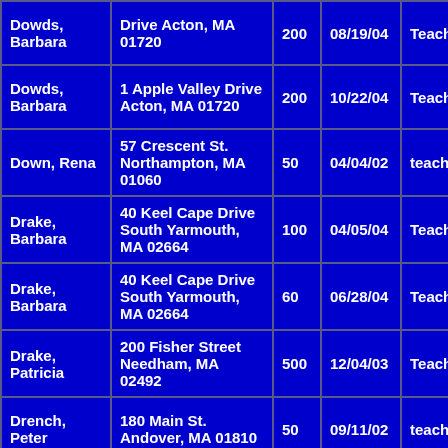| Dowds, Barbara | Drive Acton, MA 01720 | 200 | 08/19/04 | Teacher |
| Dowds, Barbara | 1 Apple Valley Drive Acton, MA 01720 | 200 | 10/22/04 | Teacher |
| Down, Rena | 57 Crescent St. Northampton, MA 01060 | 50 | 04/04/02 | teacher |
| Drake, Barbara | 40 Keel Cape Drive South Yarmouth, MA 02664 | 100 | 04/05/04 | Teacher |
| Drake, Barbara | 40 Keel Cape Drive South Yarmouth, MA 02664 | 60 | 06/28/04 | Teacher |
| Drake, Patricia | 200 Fisher Street Needham, MA 02492 | 500 | 12/04/03 | Teacher |
| Drench, Peter | 180 Main St. Andover, MA 01810 | 50 | 09/11/02 | teacher |